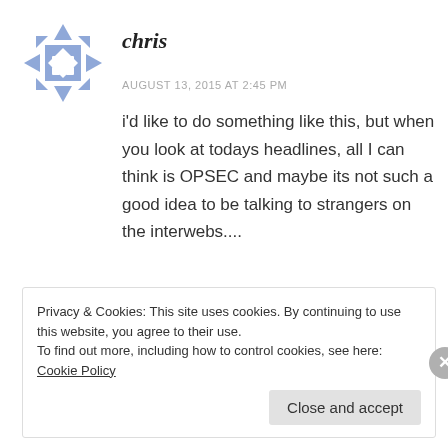[Figure (illustration): Blue and grey geometric avatar icon with diamond/arrow pattern]
chris
AUGUST 13, 2015 AT 2:45 PM
i'd like to do something like this, but when you look at todays headlines, all I can think is OPSEC and maybe its not such a good idea to be talking to strangers on the interwebs....
★ Like
Privacy & Cookies: This site uses cookies. By continuing to use this website, you agree to their use.
To find out more, including how to control cookies, see here: Cookie Policy
Close and accept